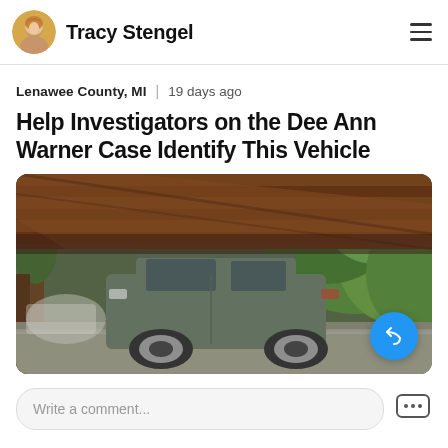Tracy Stengel
Lenawee County, MI | 19 days ago
Help Investigators on the Dee Ann Warner Case Identify This Vehicle
[Figure (photo): Blurry outdoor security camera image showing a dark-colored SUV/vehicle parked under a wooden structure (appears to be a log cabin porch or shelter overhang), with green trees and foliage visible in the background.]
Write a comment...